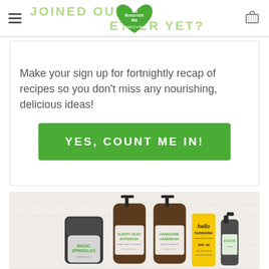[Figure (logo): 123 NourishMe Organics with Heart green heart-shaped logo in navigation bar]
JOINED OUR BETTER YET?
Make your sign up for fortnightly recap of recipes so you don’t miss any nourishing, delicious ideas!
YES, COUNT ME IN!
[Figure (photo): Product photo showing 123 NourishMe product range: Magic Sprinkles jar, Sleepy Head Bathwash pump bottle, Handshine Handwash pump bottle, Hello Sunshine natural sunscreen tube (SPF 40), and Bye Bye spray bottle, arranged on a light textured background.]